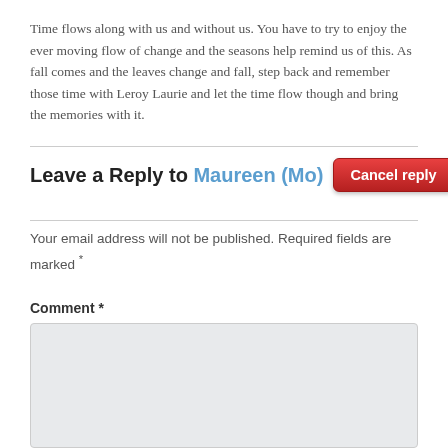Time flows along with us and without us. You have to try to enjoy the ever moving flow of change and the seasons help remind us of this. As fall comes and the leaves change and fall, step back and remember those time with Leroy Laurie and let the time flow though and bring the memories with it.
Leave a Reply to Maureen (Mo)   Cancel reply
Your email address will not be published. Required fields are marked *
Comment *